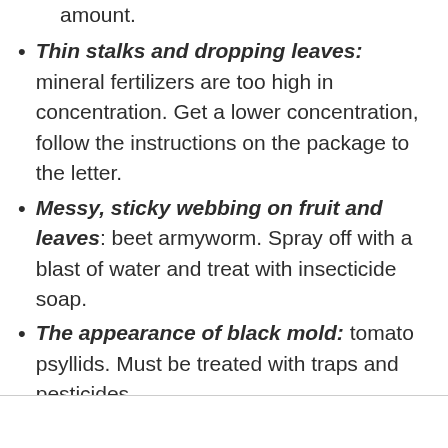amount.
Thin stalks and dropping leaves: mineral fertilizers are too high in concentration. Get a lower concentration, follow the instructions on the package to the letter.
Messy, sticky webbing on fruit and leaves: beet armyworm. Spray off with a blast of water and treat with insecticide soap.
The appearance of black mold: tomato psyllids. Must be treated with traps and pesticides.